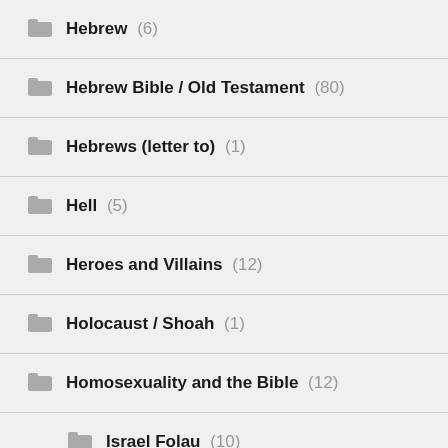Hebrew (6)
Hebrew Bible / Old Testament (80)
Hebrews (letter to) (1)
Hell (5)
Heroes and Villains (12)
Holocaust / Shoah (1)
Homosexuality and the Bible (12)
Israel Folau (10)
Inerrancy (5)
Jesus (?)